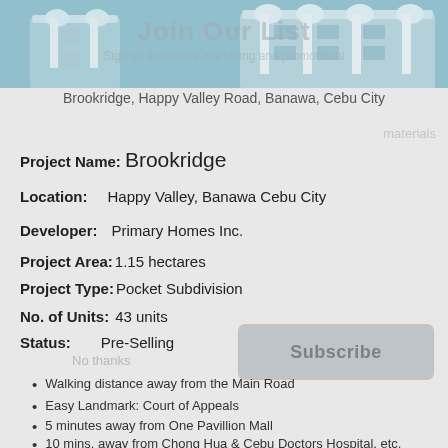[Figure (photo): Exterior photo of Brookridge townhouse units with light blue facade and white arched columns, with a semi-transparent 'Join Our List / Sign up to receive marketing and promotional materials' overlay]
Brookridge, Happy Valley Road, Banawa, Cebu City
Project Name: Brookridge
Location: Happy Valley, Banawa Cebu City
Developer: Primary Homes Inc.
Project Area: 1.15 hectares
Project Type: Pocket Subdivision
No. of Units: 43 units
Status: Pre-Selling
Walking distance away from the Main Road
Easy Landmark: Court of Appeals
5 minutes away from One Pavillion Mall
10 mins. away from Chong Hua & Cebu Doctors Hospital, etc.
15 - 20 minutes away from Private Schools and Universities.
10 minutes away from Cebu Capitol